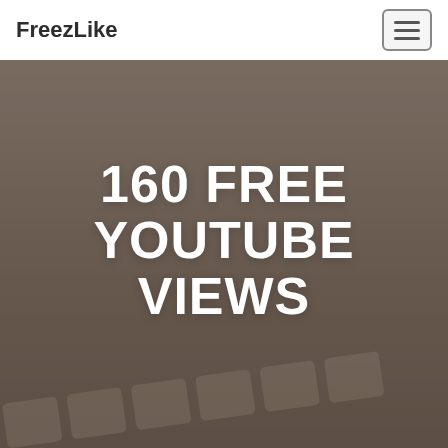FreezLike
160 FREE YOUTUBE VIEWS
[Figure (photo): Background photo of a laptop keyboard on a desk, overlaid with a brownish-grey semi-transparent color wash. The hero section shows large white bold text reading '160 FREE YOUTUBE VIEWS'.]